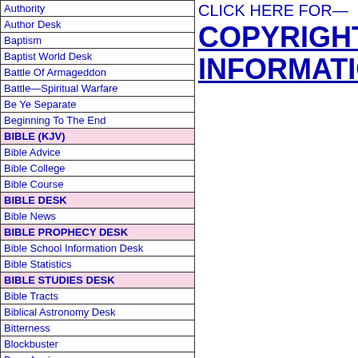Authority
Author Desk
Baptism
Baptist World Desk
Battle Of Armageddon
Battle—Spiritual Warfare
Be Ye Separate
Beginning To The End
BIBLE (KJV)
Bible Advice
Bible College
Bible Course
BIBLE DESK
Bible News
BIBLE PROPHECY DESK
Bible School Information Desk
Bible Statistics
BIBLE STUDIES DESK
Bible Tracts
Biblical Astronomy Desk
Bitterness
Blockbuster
Born-Again
Born-Again—Evidence
Cares, Worries, Pleasures
Catholic Church—Scripture Pt 1
Catholic Church—Rev 17-18 Pt 2
Catholic Desk
CLICK HERE FOR— COPYRIGHT INFORMATION